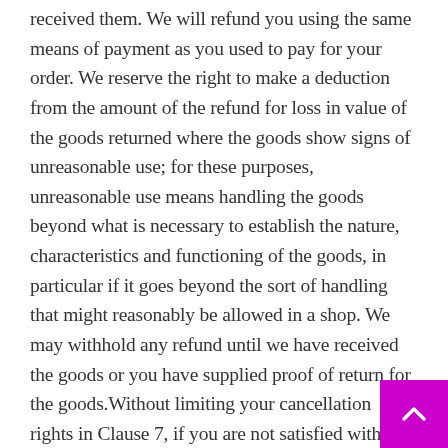received them. We will refund you using the same means of payment as you used to pay for your order. We reserve the right to make a deduction from the amount of the refund for loss in value of the goods returned where the goods show signs of unreasonable use; for these purposes, unreasonable use means handling the goods beyond what is necessary to establish the nature, characteristics and functioning of the goods, in particular if it goes beyond the sort of handling that might reasonably be allowed in a shop. We may withhold any refund until we have received the goods or you have supplied proof of return for the goods.Without limiting your cancellation rights in Clause 7, if you are not satisfied with a product for any reason e.g. if it is not what you ordered, it is damaged or defective, or we have delivered an incorrect quantity, please return the